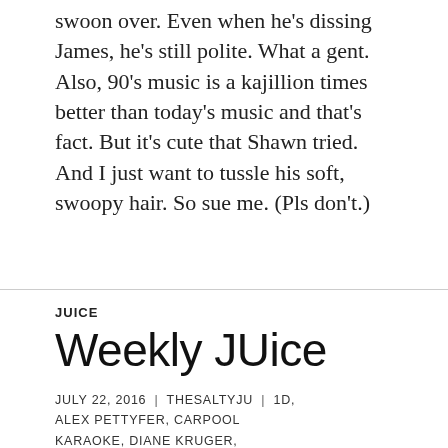swoon over. Even when he’s dissing James, he’s still polite. What a gent. Also, 90’s music is a kajillion times better than today’s music and that’s fact. But it’s cute that Shawn tried. And I just want to tussle his soft, swoopy hair. So sue me. (Pls don’t.)
JUICE
Weekly JUice
JULY 22, 2016 | THESALTYJU | 1D, ALEX PETTYFER, CARPOOL KARAOKE, DIANE KRUGER, GINUWINE, JAMES CORDEN, JOSHUA JACKSON, KATE